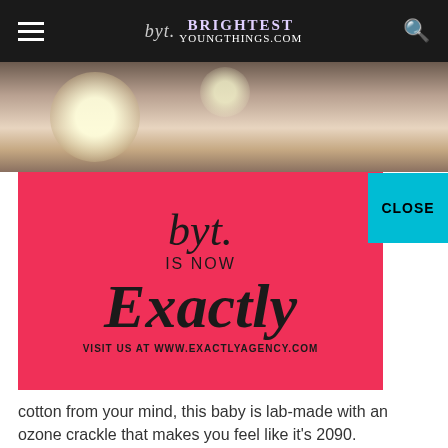byt. BRIGHTEST YOUNGTHINGS.com
[Figure (photo): Blurred close-up photo of a blonde person with bokeh light circles in the background]
[Figure (infographic): Red advertisement overlay: byt. IS NOW Exactly VISIT US AT WWW.EXACTLYAGENCY.COM with a cyan CLOSE button in the top right corner]
cotton from your mind, this baby is lab-made with an ozone crackle that makes you feel like it's 2090.